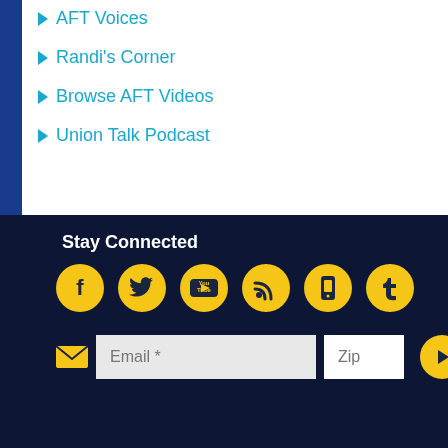AFT Voices
Randi's Corner
Browse AFT Videos
Union Talk Podcast
Stay Connected
[Figure (infographic): Row of 6 social media icon buttons (Facebook, Twitter, YouTube, RSS, Mobile, Tumblr) as yellow circular icons on dark navy background]
[Figure (infographic): Email signup form with envelope icon, Email* text input, Zip text input, and yellow circular submit arrow button]